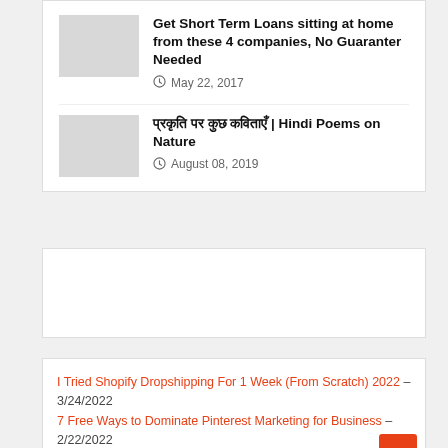Get Short Term Loans sitting at home from these 4 companies, No Guaranter Needed — May 22, 2017
प्रकृति पर कुछ कविताएँ | Hindi Poems on Nature — August 08, 2019
[Figure (other): Advertisement placeholder banner]
I Tried Shopify Dropshipping For 1 Week (From Scratch) 2022 – 3/24/2022
7 Free Ways to Dominate Pinterest Marketing for Business – 2/22/2022
How to Start Dropshipping with Spocket in 2022 – 2/17/2022